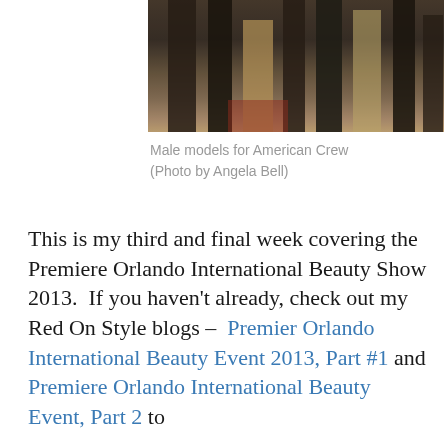[Figure (photo): Cropped photo showing legs and lower bodies of male models for American Crew at a beauty show event]
Male models for American Crew (Photo by Angela Bell)
This is my third and final week covering the Premiere Orlando International Beauty Show 2013.  If you haven't already, check out my Red On Style blogs –  Premier Orlando International Beauty Event 2013, Part #1 and Premiere Orlando International Beauty Event, Part 2 to
Privacy & Cookies: This site uses cookies. By continuing to use this website, you agree to their use.
To find out more, including how to control cookies, see here: Cookie Policy
I captured from the show.